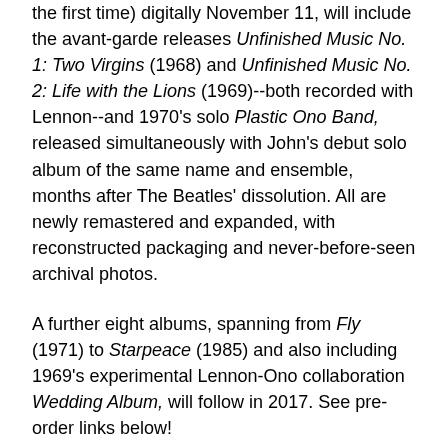the first time) digitally November 11, will include the avant-garde releases Unfinished Music No. 1: Two Virgins (1968) and Unfinished Music No. 2: Life with the Lions (1969)--both recorded with Lennon--and 1970's solo Plastic Ono Band, released simultaneously with John's debut solo album of the same name and ensemble, months after The Beatles' dissolution. All are newly remastered and expanded, with reconstructed packaging and never-before-seen archival photos.
A further eight albums, spanning from Fly (1971) to Starpeace (1985) and also including 1969's experimental Lennon-Ono collaboration Wedding Album, will follow in 2017. See pre-order links below!
Unfinished Music No. 1: Two Virgins (originally released as Apple/Track Record SAPCOR 2